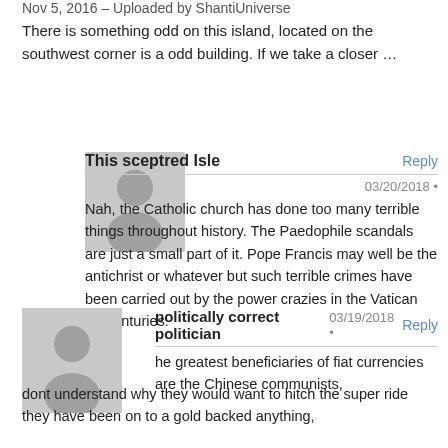Nov 5, 2016 – Uploaded by ShantiUniverse
There is something odd on this island, located on the southwest corner is a odd building. If we take a closer …
This sceptred Isle  03/20/2018 •  Reply
Nah, the Catholic church has done too many terrible things throughout history. The Paedophile scandals are just a small part of it. Pope Francis may well be the antichrist or whatever but such terrible crimes have been carried out by the power crazies in the Vatican for centuries.
politically correct politician  03/19/2018 •  Reply
he greatest beneficiaries of fiat currencies are the Chinese communists, dont understand why they would want to hitch the super ride they have been on to a gold backed anything,